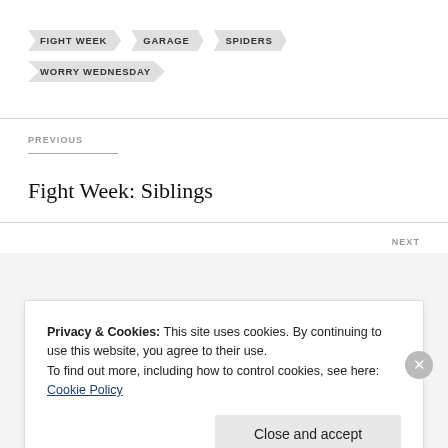FIGHT WEEK
GARAGE
SPIDERS
WORRY WEDNESDAY
PREVIOUS
Fight Week: Siblings
NEXT
Privacy & Cookies: This site uses cookies. By continuing to use this website, you agree to their use.
To find out more, including how to control cookies, see here: Cookie Policy
Close and accept